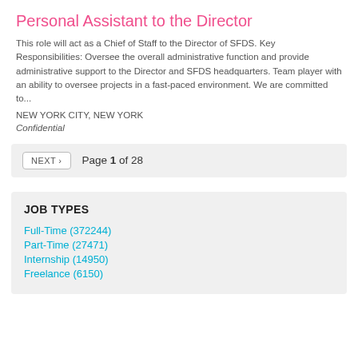Personal Assistant to the Director
This role will act as a Chief of Staff to the Director of SFDS. Key Responsibilities: Oversee the overall administrative function and provide administrative support to the Director and SFDS headquarters. Team player with an ability to oversee projects in a fast-paced environment. We are committed to...
NEW YORK CITY, NEW YORK
Confidential
NEXT › Page 1 of 28
JOB TYPES
Full-Time (372244)
Part-Time (27471)
Internship (14950)
Freelance (6150)